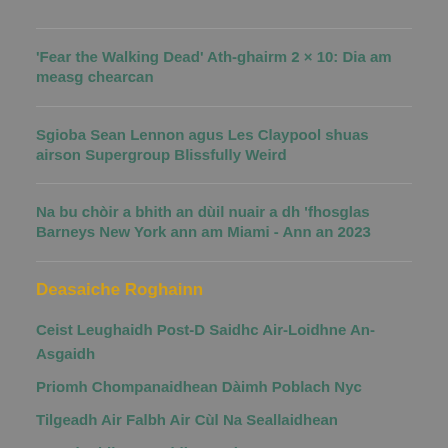'Fear the Walking Dead' Ath-ghairm 2 × 10: Dia am measg chearcan
Sgioba Sean Lennon agus Les Claypool shuas airson Supergroup Blissfully Weird
Na bu chòir a bhith an dùil nuair a dh 'fhosglas Barneys New York ann am Miami - Ann an 2023
Deasaiche Roghainn
Ceist Leughaidh Post-D Saidhc Air-Loidhne An-Asgaidh
Priomh Chompanaidhean Dàimh Poblach Nyc
Tilgeadh Air Falbh Air Cùl Na Seallaidhean
An Ath Fhilm Cogaidhean Rionnag
Staph Gabhaltach Làimhseachadh Làimhseachaidh